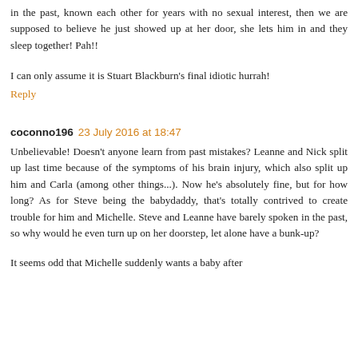in the past, known each other for years with no sexual interest, then we are supposed to believe he just showed up at her door, she lets him in and they sleep together! Pah!!
I can only assume it is Stuart Blackburn's final idiotic hurrah!
Reply
coconno196  23 July 2016 at 18:47
Unbelievable! Doesn't anyone learn from past mistakes? Leanne and Nick split up last time because of the symptoms of his brain injury, which also split up him and Carla (among other things...). Now he's absolutely fine, but for how long? As for Steve being the babydaddy, that's totally contrived to create trouble for him and Michelle. Steve and Leanne have barely spoken in the past, so why would he even turn up on her doorstep, let alone have a bunk-up?
It seems odd that Michelle suddenly wants a baby after...